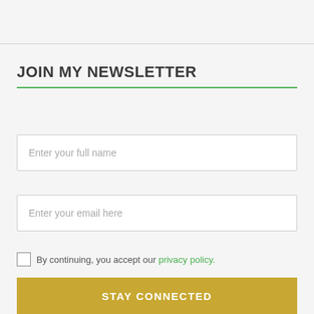JOIN MY NEWSLETTER
Enter your full name
Enter your email here
By continuing, you accept our privacy policy.
STAY CONNECTED